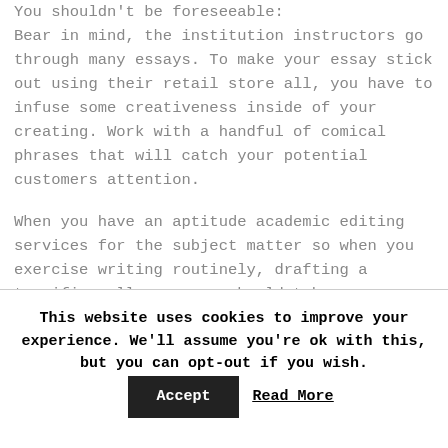You shouldn't be foreseeable: Bear in mind, the institution instructors go through many essays. To make your essay stick out using their retail store all, you have to infuse some creativeness inside of your creating. Work with a handful of comical phrases that will catch your potential customers attention.

When you have an aptitude academic editing services for the subject matter so when you exercise writing routinely, drafting a terrific college essay shouldnt be a challenge for everyone.
This website uses cookies to improve your experience. We'll assume you're ok with this, but you can opt-out if you wish. Accept Read More